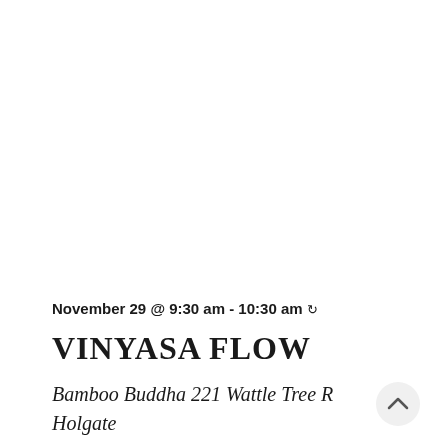November 29 @ 9:30 am - 10:30 am ↻
VINYASA FLOW
Bamboo Buddha 221 Wattle Tree R Holgate